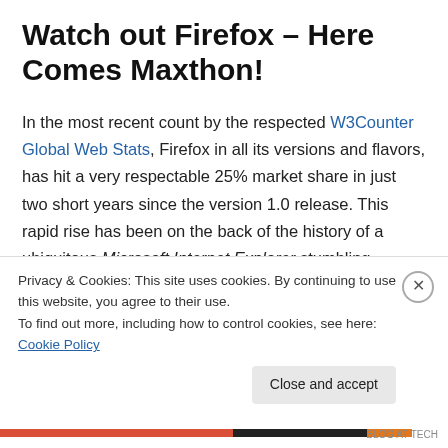Watch out Firefox – Here Comes Maxthon!
In the most recent count by the respected W3Counter Global Web Stats, Firefox in all its versions and flavors, has hit a very respectable 25% market share in just two short years since the version 1.0 release. This rapid rise has been on the back of the history of a ubiquitous Microsoft Internet Explorer stumbling through a series of
Privacy & Cookies: This site uses cookies. By continuing to use this website, you agree to their use.
To find out more, including how to control cookies, see here: Cookie Policy